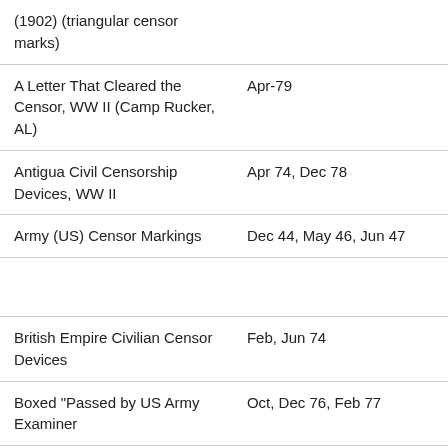| Title | Date |
| --- | --- |
| (1902) (triangular censor marks) |  |
| A Letter That Cleared the Censor, WW II (Camp Rucker, AL) | Apr-79 |
| Antigua Civil Censorship Devices, WW II | Apr 74, Dec 78 |
| Army (US) Censor Markings | Dec 44, May 46, Jun 47 |
|  |  |
| British Empire Civilian Censor Devices | Feb, Jun 74 |
| Boxed "Passed by US Army Examiner | Oct, Dec 76, Feb 77 |